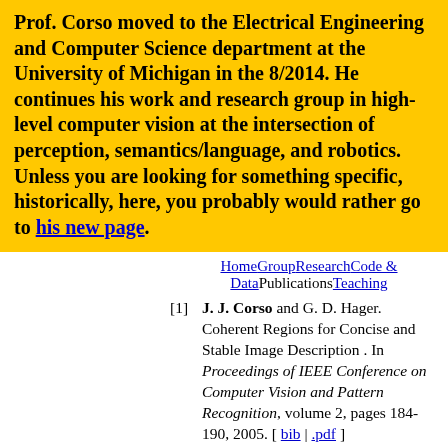Prof. Corso moved to the Electrical Engineering and Computer Science department at the University of Michigan in the 8/2014. He continues his work and research group in high-level computer vision at the intersection of perception, semantics/language, and robotics. Unless you are looking for something specific, historically, here, you probably would rather go to his new page.
HomeGroupResearchCode & DataPublicationsTeaching
[1] J. J. Corso and G. D. Hager. Coherent Regions for Concise and Stable Image Description . In Proceedings of IEEE Conference on Computer Vision and Pattern Recognition, volume 2, pages 184-190, 2005. [ bib | .pdf ]
[2] J. J. Corso. Techniques for Vision-Based Human...